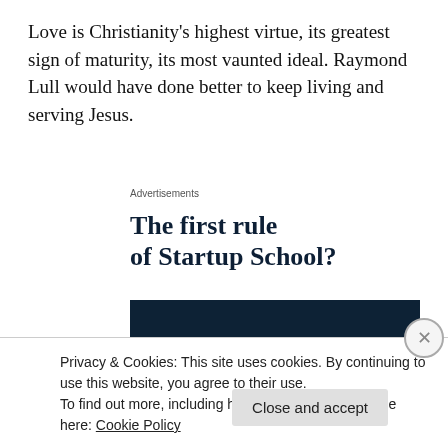Love is Christianity's highest virtue, its greatest sign of maturity, its most vaunted ideal. Raymond Lull would have done better to keep living and serving Jesus.
Advertisements
[Figure (infographic): Ad headline reading 'The first rule of Startup School?' followed by a dark navy banner with bold white text 'Ask questions.']
Privacy & Cookies: This site uses cookies. By continuing to use this website, you agree to their use.
To find out more, including how to control cookies, see here: Cookie Policy